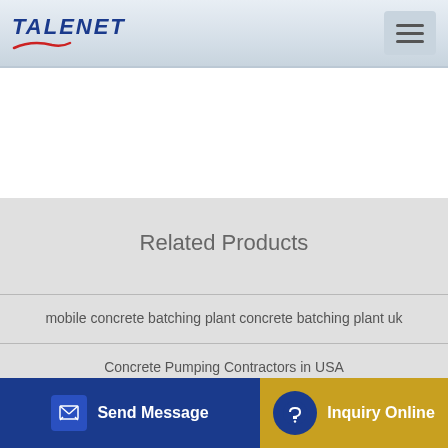[Figure (logo): TALENET logo with blue italic text and red swoosh underline]
[Figure (other): Hamburger menu icon button]
Related Products
mobile concrete batching plant concrete batching plant uk
Concrete Pumping Contractors in USA
Transcrete Concrete Pump Auction 0029-7010740
Cannon Concrete Pumping Concrete Contractor
[Figure (other): Send Message button with edit icon on blue background]
[Figure (other): Inquiry Online button with headset icon on gold background]